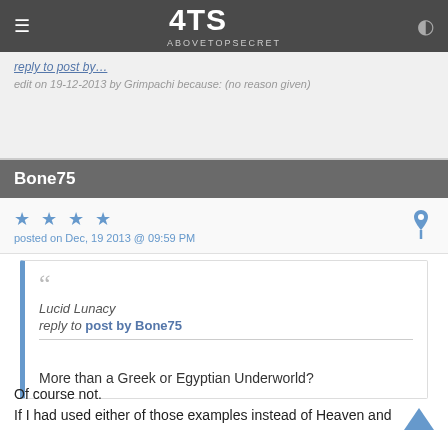4TS AboveTopSecret
edit on 19-12-2013 by Grimpachi because: (no reason given)
Bone75
★ ★ ★ ★
posted on Dec, 19 2013 @ 09:59 PM
Lucid Lunacy
reply to post by Bone75

More than a Greek or Egyptian Underworld?
Of course not.
If I had used either of those examples instead of Heaven and